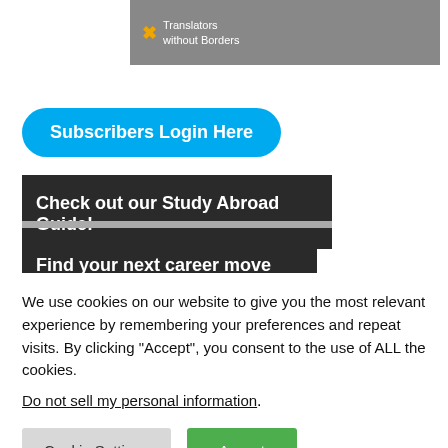[Figure (logo): Translators without Borders logo on dark gray banner background]
Subscribers Login Here
Check out our Study Abroad Guide!
Find your next career move here!
We use cookies on our website to give you the most relevant experience by remembering your preferences and repeat visits. By clicking “Accept”, you consent to the use of ALL the cookies.
Do not sell my personal information.